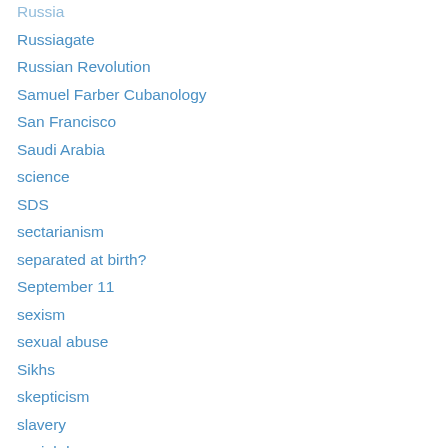Russia
Russiagate
Russian Revolution
Samuel Farber Cubanology
San Francisco
Saudi Arabia
science
SDS
sectarianism
separated at birth?
September 11
sexism
sexual abuse
Sikhs
skepticism
slavery
social democracy
social media
Social Security
socialism